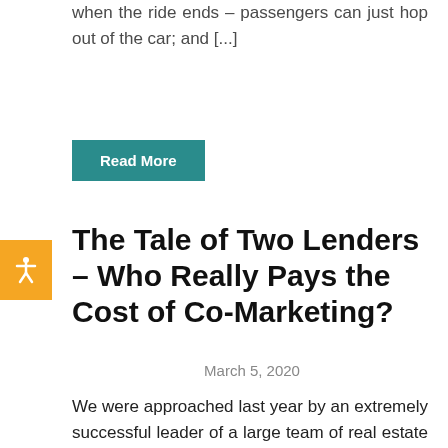when the ride ends – passengers can just hop out of the car; and [...]
Read More
The Tale of Two Lenders – Who Really Pays the Cost of Co-Marketing?
March 5, 2020
We were approached last year by an extremely successful leader of a large team of real estate agents – together they close